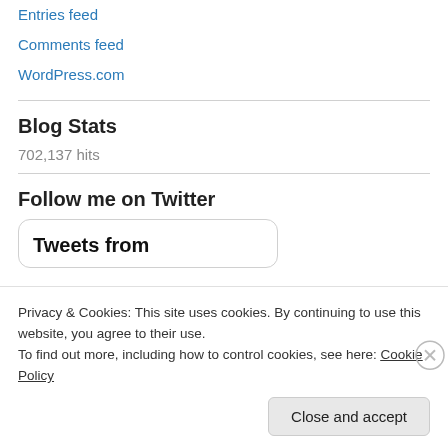Entries feed
Comments feed
WordPress.com
Blog Stats
702,137 hits
Follow me on Twitter
[Figure (screenshot): Twitter widget box showing 'Tweets from' header]
Privacy & Cookies: This site uses cookies. By continuing to use this website, you agree to their use.
To find out more, including how to control cookies, see here: Cookie Policy
Close and accept